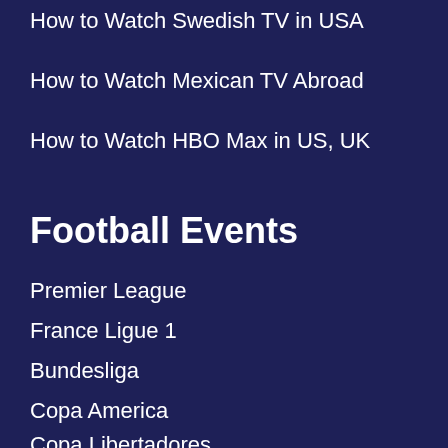How to Watch Swedish TV in USA
How to Watch Mexican TV Abroad
How to Watch HBO Max in US, UK
Football Events
Premier League
France Ligue 1
Bundesliga
Copa America
Copa Libertadores